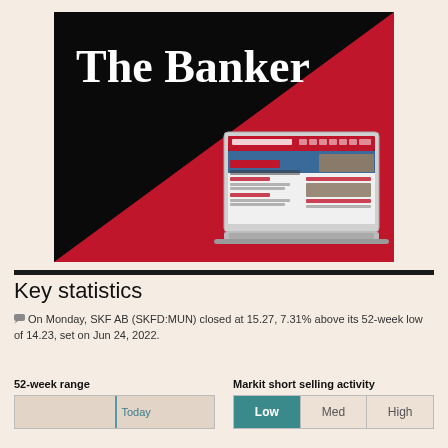[Figure (logo): The Banker magazine logo on a black and red background with a laptop showing The Banker website]
Key statistics
On Monday, SKF AB (SKFD:MUN) closed at 15.27, 7.31% above its 52-week low of 14.23, set on Jun 24, 2022.
| 52-week range | Markit short selling activity |
| --- | --- |
| Today | Low | Med | High |